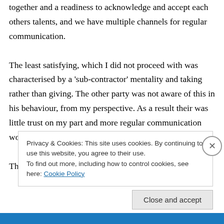together and a readiness to acknowledge and accept each others talents, and we have multiple channels for regular communication.
The least satisfying, which I did not proceed with was characterised by a 'sub-contractor' mentality and taking rather than giving. The other party was not aware of this in his behaviour, from my perspective. As a result their was little trust on my part and more regular communication would have made little difference.
The third relationship is somewhere in between
Privacy & Cookies: This site uses cookies. By continuing to use this website, you agree to their use.
To find out more, including how to control cookies, see here: Cookie Policy
Close and accept